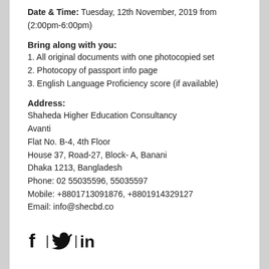Date & Time: Tuesday, 12th November, 2019 from (2:00pm-6:00pm)
Bring along with you:
1. All original documents with one photocopied set
2. Photocopy of passport info page
3. English Language Proficiency score (if available)
Address:
Shaheda Higher Education Consultancy
Avanti
Flat No. B-4, 4th Floor
House 37, Road-27, Block- A, Banani
Dhaka 1213, Bangladesh
Phone: 02 55035596, 55035597
Mobile: +8801713091876, +8801914329127
Email: info@shecbd.co
[Figure (logo): Social media icons: Facebook, Twitter, LinkedIn]